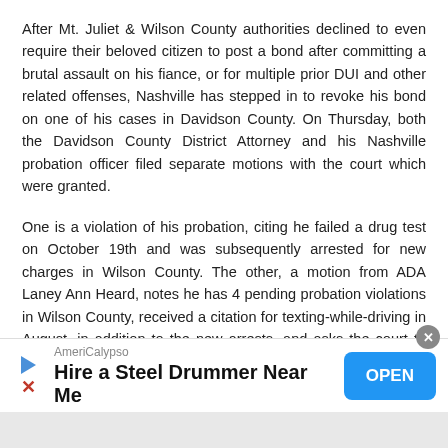After Mt. Juliet & Wilson County authorities declined to even require their beloved citizen to post a bond after committing a brutal assault on his fiance, or for multiple prior DUI and other related offenses, Nashville has stepped in to revoke his bond on one of his cases in Davidson County. On Thursday, both the Davidson County District Attorney and his Nashville probation officer filed separate motions with the court which were granted.
One is a violation of his probation, citing he failed a drug test on October 19th and was subsequently arrested for new charges in Wilson County. The other, a motion from ADA Laney Ann Heard, notes he has 4 pending probation violations in Wilson County, received a citation for texting-while-driving in August, in addition to the new arrests, and asks the court to revoke hi...
[Figure (other): Advertisement banner for AmeriCalypso - Hire a Steel Drummer Near Me, with a blue OPEN button and close (X) button.]